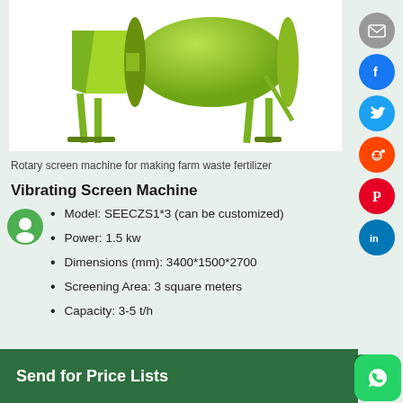[Figure (photo): Green rotary screen machine for making farm waste fertilizer, shown on white background with support legs and cylindrical drum]
Rotary screen machine for making farm waste fertilizer
Vibrating Screen Machine
Model: SEECZS1*3 (can be customized)
Power: 1.5 kw
Dimensions (mm): 3400*1500*2700
Screening Area: 3 square meters
Capacity: 3-5 t/h
Send for Price Lists